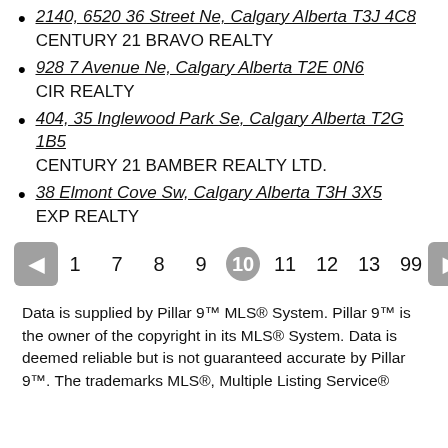2140, 6520 36 Street Ne, Calgary Alberta T3J 4C8
CENTURY 21 BRAVO REALTY
928 7 Avenue Ne, Calgary Alberta T2E 0N6
CIR REALTY
404, 35 Inglewood Park Se, Calgary Alberta T2G 1B5
CENTURY 21 BAMBER REALTY LTD.
38 Elmont Cove Sw, Calgary Alberta T3H 3X5
EXP REALTY
Pagination: 1 7 8 9 10 (current) 11 12 13 99
Data is supplied by Pillar 9™ MLS® System. Pillar 9™ is the owner of the copyright in its MLS® System. Data is deemed reliable but is not guaranteed accurate by Pillar 9™. The trademarks MLS®, Multiple Listing Service®